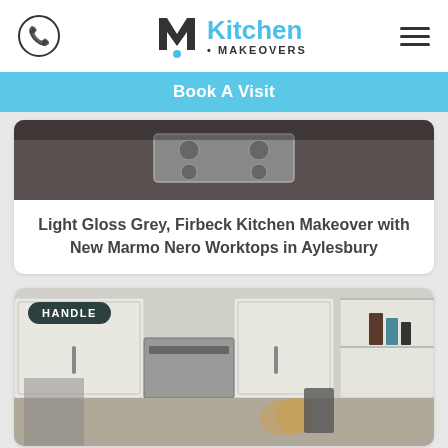Kitchen Makeovers
Book A Visit
[Figure (photo): Dark kitchen countertop with gas hob/stove]
Light Gloss Grey, Firbeck Kitchen Makeover with New Marmo Nero Worktops in Aylesbury
[Figure (photo): White kitchen cabinets with handle badge label, range hood, and shelf with items]